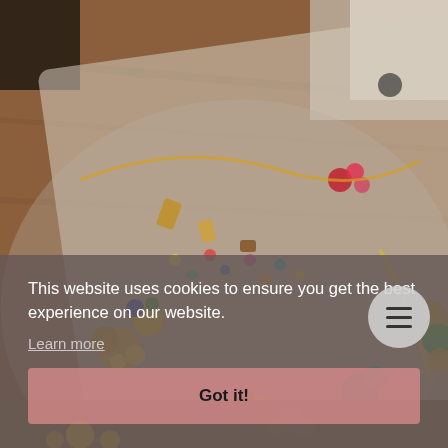[Figure (photo): Photo of a plastic tray filled with assorted vintage costume jewelry including brooches, earrings, necklaces, beads, and decorative pieces in gold, silver, and colorful tones, displayed on a wooden table surface.]
This website uses cookies to ensure you get the best experience on our website.
Learn more
Got it!